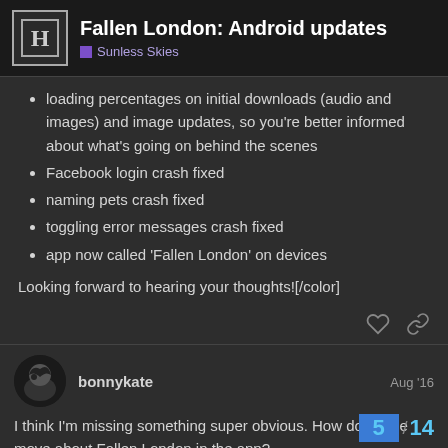Fallen London: Android updates — Sunless Skies
loading percentages on initial downloads (audio and images) and image updates, so you're better informed about what's going on behind the scenes
Facebook login crash fixed
naming pets crash fixed
toggling error messages crash fixed
app now called 'Fallen London' on devices
Looking forward to hearing your thoughts![/color]
bonnykate — Aug '16
I think I'm missing something super obvious. How does one move about Fallen London in the app?
5 / 14